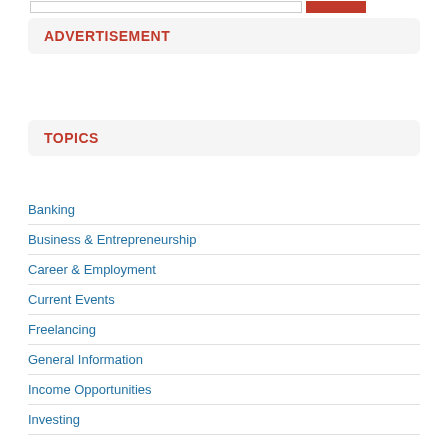ADVERTISEMENT
TOPICS
Banking
Business & Entrepreneurship
Career & Employment
Current Events
Freelancing
General Information
Income Opportunities
Investing